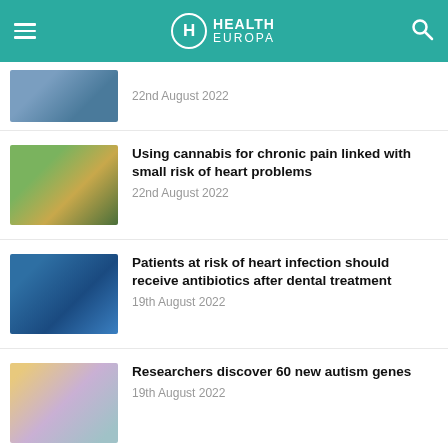HEALTH EUROPA
22nd August 2022
Using cannabis for chronic pain linked with small risk of heart problems — 22nd August 2022
Patients at risk of heart infection should receive antibiotics after dental treatment — 19th August 2022
Researchers discover 60 new autism genes — 19th August 2022
How a herbal medicine protects against inflammatory bowel disease — 18th August 2022